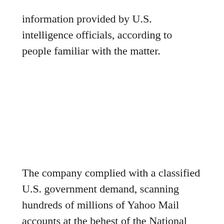information provided by U.S. intelligence officials, according to people familiar with the matter.
The company complied with a classified U.S. government demand, scanning hundreds of millions of Yahoo Mail accounts at the behest of the National Security Agency or FBI, either of government